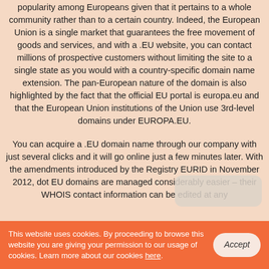popularity among Europeans given that it pertains to a whole community rather than to a certain country. Indeed, the European Union is a single market that guarantees the free movement of goods and services, and with a .EU website, you can contact millions of prospective customers without limiting the site to a single state as you would with a country-specific domain name extension. The pan-European nature of the domain is also highlighted by the fact that the official EU portal is europa.eu and that the European Union institutions of the Union use 3rd-level domains under EUROPA.EU.
You can acquire a .EU domain name through our company with just several clicks and it will go online just a few minutes later. With the amendments introduced by the Registry EURID in November 2012, dot EU domains are managed considerably easier – their WHOIS contact information can be edited at any
This website uses cookies. By proceeding to browse this website you are giving your permission to our usage of cookies. Learn more about our cookies here.